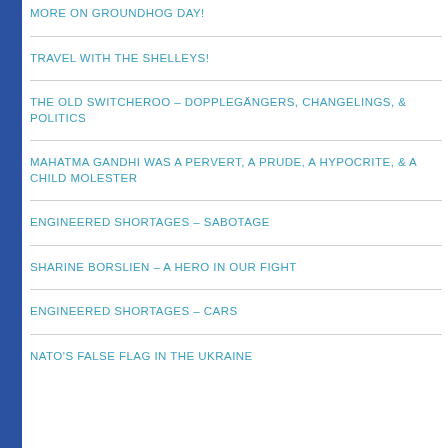MORE ON GROUNDHOG DAY!
TRAVEL WITH THE SHELLEYS!
THE OLD SWITCHEROO – DOPPLEGÄNGERS, CHANGELINGS, & POLITICS
MAHATMA GANDHI WAS A PERVERT, A PRUDE, A HYPOCRITE, & A CHILD MOLESTER
ENGINEERED SHORTAGES – SABOTAGE
SHARINE BORSLIEN – A HERO IN OUR FIGHT
ENGINEERED SHORTAGES – CARS
NATO's FALSE FLAG IN THE UKRAINE